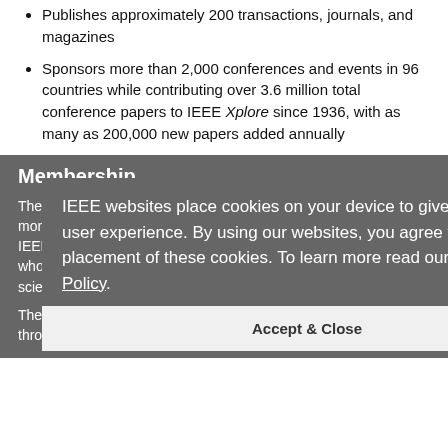Publishes approximately 200 transactions, journals, and magazines
Sponsors more than 2,000 conferences and events in 96 countries while contributing over 3.6 million total conference papers to IEEE Xplore since 1936, with as many as 200,000 new papers added annually
Membership
There are over 409,000 IEEE members in over 160 countries, more than 60 percent of whom are from outside the United States. IEEE members are engineers, scientists, and allied professionals whose technical interests are rooted in electrical and computer sciences, engineering, and related disciplines.
The highest grade of membership, IEEE Fellow, is attained through nomination by peers and approval by the IEEE Board